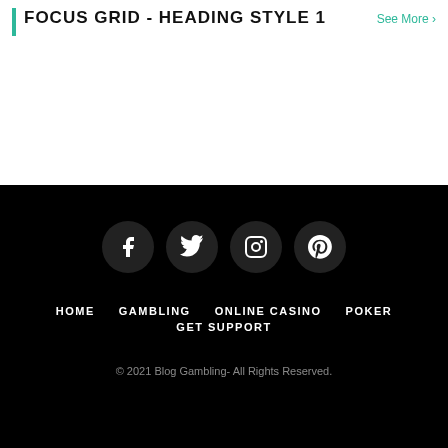FOCUS GRID - HEADING STYLE 1
See More >
[Figure (infographic): Social media icons: Facebook, Twitter, Instagram, Pinterest in dark circles on black background]
HOME
GAMBLING
ONLINE CASINO
POKER
GET SUPPORT
© 2021 Blog Gambling- All Rights Reserved.